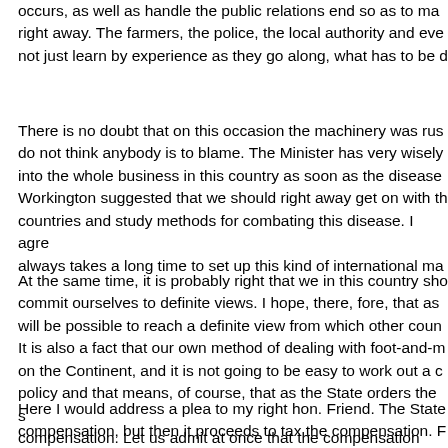occurs, as well as handle the public relations end so as to make right away. The farmers, the police, the local authority and eve not just learn by experience as they go along, what has to be d
There is no doubt that on this occasion the machinery was rus do not think anybody is to blame. The Minister has very wisely into the whole business in this country as soon as the disease Workington suggested that we should right away get on with th countries and study methods for combating this disease. I agre always takes a long time to set up this kind of international ma
At the same time, it is probably right that we in this country sho commit ourselves to definite views. I hope, there, fore, that as will be possible to reach a definite view from which other coun It is also a fact that our own method of dealing with foot-and-m on the Continent, and it is not going to be easy to work out a c policy and that means, of course, that as the State orders the s compensation. Let us admit at once that the compensation has
Here I would address a plea to my right hon. Friend. The State compensation, but then it proceeds to tax the compensation. F the profits on the trading account in respect of young stock th